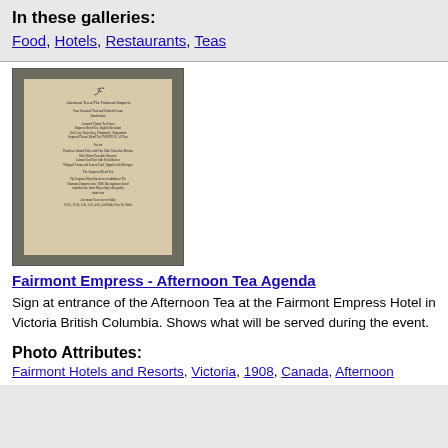In these galleries:
Food, Hotels, Restaurants, Teas
[Figure (photo): Photo of a Fairmont Empress Afternoon Tea menu/agenda card on a beige background]
Fairmont Empress - Afternoon Tea Agenda
Sign at entrance of the Afternoon Tea at the Fairmont Empress Hotel in Victoria British Columbia. Shows what will be served during the event.
Photo Attributes:
Fairmont Hotels and Resorts, Victoria, 1908, Canada, Afternoon